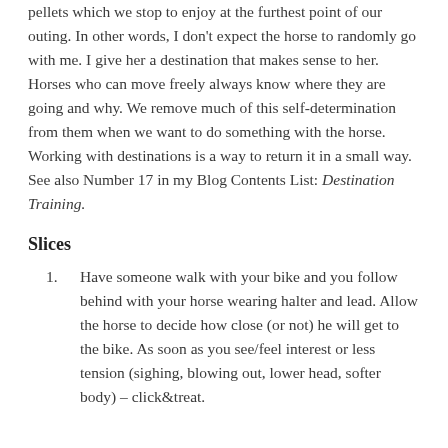pellets which we stop to enjoy at the furthest point of our outing. In other words, I don't expect the horse to randomly go with me. I give her a destination that makes sense to her. Horses who can move freely always know where they are going and why. We remove much of this self-determination from them when we want to do something with the horse. Working with destinations is a way to return it in a small way. See also Number 17 in my Blog Contents List: Destination Training.
Slices
Have someone walk with your bike and you follow behind with your horse wearing halter and lead. Allow the horse to decide how close (or not) he will get to the bike. As soon as you see/feel interest or less tension (sighing, blowing out, lower head, softer body) – click&treat.